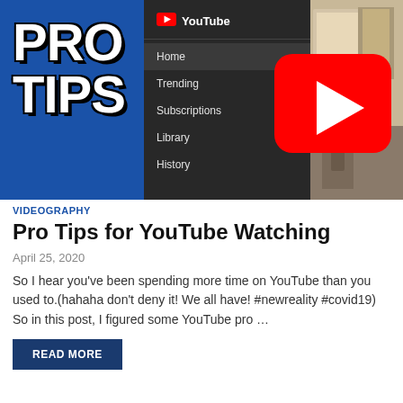[Figure (screenshot): YouTube Pro Tips thumbnail image showing 'PRO TIPS' text on blue background on the left, YouTube sidebar navigation menu in the center with Home, Trending, Subscriptions, Library, History items, a large YouTube play button logo overlaid, and a room video in the background on the right.]
VIDEOGRAPHY
Pro Tips for YouTube Watching
April 25, 2020
So I hear you've been spending more time on YouTube than you used to.(hahaha don't deny it! We all have! #newreality #covid19) So in this post, I figured some YouTube pro …
READ MORE